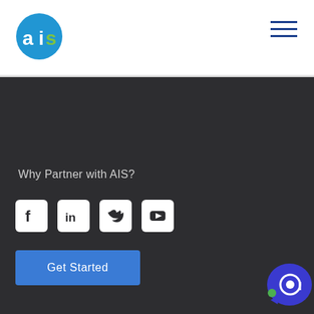[Figure (logo): AIS logo — blue circle with 'ais' text in white and green]
[Figure (other): Hamburger menu icon with three horizontal blue lines]
Why Partner with AIS?
[Figure (other): Social media icons row: Facebook, LinkedIn, Twitter, YouTube — white icons on white rounded-square backgrounds]
Get Started
© 2022 All Information Services Inc. All Rights Reserved
Terms and Conditions   Privacy Policy   Security
[Figure (other): Chat bot / live chat widget icon in bottom right corner — dark blue speech bubble with white chat icon and green dot]